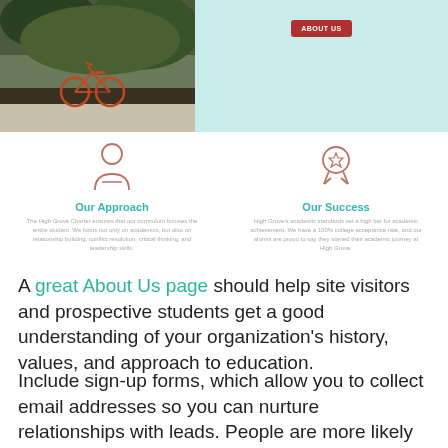[Figure (screenshot): Screenshot of a school website About Us page showing a photo of a bicycle against plants on the left, a teal/light blue panel with an ABOUT US red button on the right, and below that two columns: Our Approach with a person icon and Our Success with a ribbon icon, each with small descriptive text.]
A great About Us page should help site visitors and prospective students get a good understanding of your organization’s history, values, and approach to education.
Include sign-up forms, which allow you to collect email addresses so you can nurture relationships with leads. People are more likely to subscribe if you offer something in return for their contact information. Try offering helpful content for new